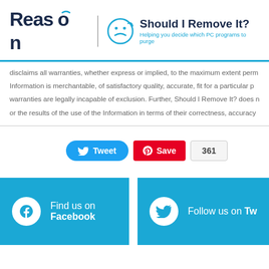[Figure (logo): Reason Software logo and Should I Remove It? logo with tagline 'Helping you decide which PC programs to purge']
disclaims all warranties, whether express or implied, to the maximum extent perm Information is merchantable, of satisfactory quality, accurate, fit for a particular p warranties are legally incapable of exclusion. Further, Should I Remove It? does n or the results of the use of the Information in terms of their correctness, accuracy
[Figure (screenshot): Social sharing buttons: Tweet button, Save (Pinterest) button with count 361]
[Figure (infographic): Two social media banners: 'Find us on Facebook' and 'Follow us on Tw...' both in blue with white icons]